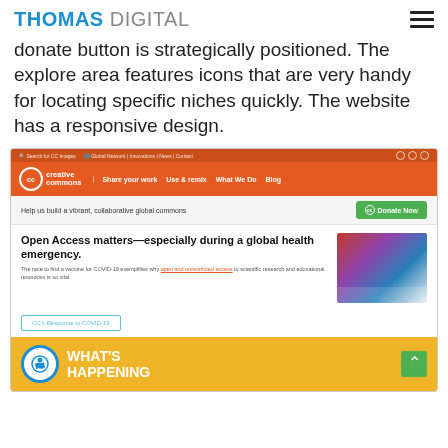THOMAS DIGITAL
donate button is strategically positioned. The explore area features icons that are very handy for locating specific niches quickly. The website has a responsive design.
[Figure (screenshot): Screenshot of the Creative Commons website showing the orange navigation bar with logo, nav links (Share your work, Use & remix, What We Do, Blog), a donate banner, hero section with 'Open Access matters—especially during a global health emergency.' headline, a photo of lab workers, a CC's Response to COVID-19 button, and a yellow 'WHAT'S HAPPENING' footer bar with accessibility icon.]